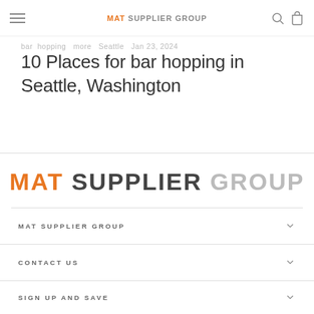MAT SUPPLIER GROUP
bar hopping more Seattle Jan 23, 2024
10 Places for bar hopping in Seattle, Washington
[Figure (logo): MAT SUPPLIER GROUP logo in large text, MAT in orange, SUPPLIER in dark gray, GROUP in light gray]
MAT SUPPLIER GROUP
CONTACT US
SIGN UP AND SAVE